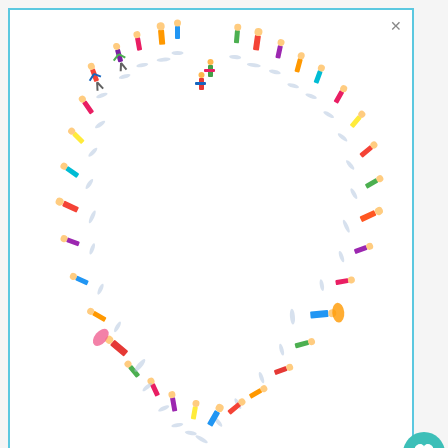[Figure (illustration): Colorful illustration of miniature people arranged in a heart shape, viewed from above, with long shadows. Copyright Stephen Waterhouse 2020.]
© Stephen Waterhouse 2020
Pros:
Not a lot for me. They weren't terrible
WHAT'S NEXT → How I Doubled My Blogging...
We stand with you.